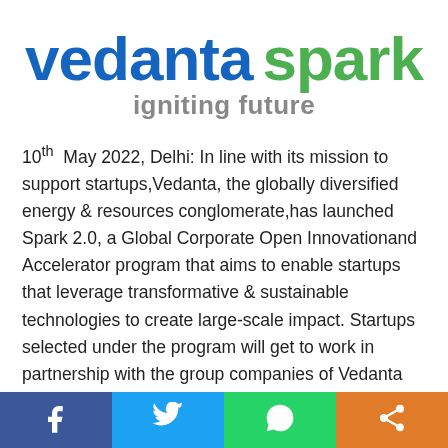[Figure (logo): Vedanta Spark logo with 'vedanta' in blue bold text and 'spark' in green bold text, tagline 'igniting future' in grey below]
10th May 2022, Delhi: In line with its mission to support startups,Vedanta, the globally diversified energy & resources conglomerate,has launched Spark 2.0, a Global Corporate Open Innovationand Accelerator program that aims to enable startups that leverage transformative & sustainable technologies to create large-scale impact. Startups selected under the program will get to work in partnership with the group companies of Vedanta which has operations across 3 continents.These startups will get
[Figure (infographic): Social media share bar at bottom with four buttons: Facebook (dark blue), Twitter (light blue), WhatsApp (green), Share (orange)]